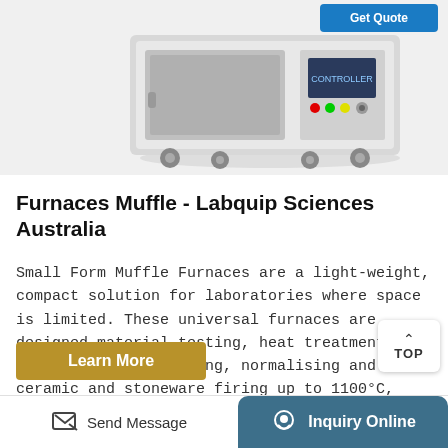[Figure (photo): Small form muffle furnace laboratory equipment on wheels, white/grey cabinet with control panel showing red and green indicator lights, shown against white background]
Furnaces Muffle - Labquip Sciences Australia
Small Form Muffle Furnaces are a light-weight, compact solution for laboratories where space is limited. These universal furnaces are designed material testing, heat treatment such as hardening, loosening, normalising and ceramic and stoneware firing up to 1100°C, These furnaces are constructed from powder coated steel exteriors with a one ...
Learn More
Send Message   Inquiry Online